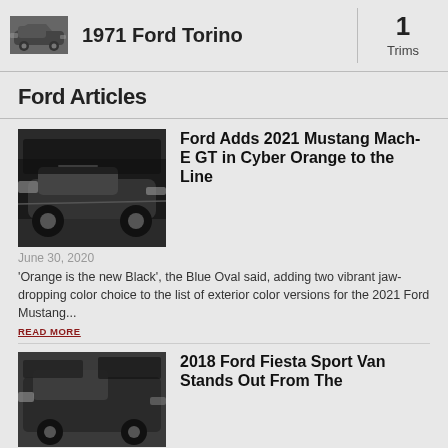[Figure (photo): Small black and white photo of 1971 Ford Torino car]
1971 Ford Torino
1
Trims
Ford Articles
[Figure (photo): Black and white photo of Ford Mustang Mach-E SUV driving at speed]
Ford Adds 2021 Mustang Mach-E GT in Cyber Orange to the Line
June 30, 2020
'Orange is the new Black', the Blue Oval said, adding two vibrant jaw-dropping color choice to the list of exterior color versions for the 2021 Ford Mustang...
READ MORE
[Figure (photo): Black and white photo of 2018 Ford Fiesta Sport Van]
2018 Ford Fiesta Sport Van Stands Out From The